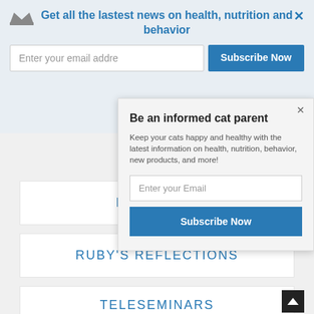Get all the lastest news on health, nutrition and behavior
Enter your email addre
Subscribe Now
Be an informed cat parent
Keep your cats happy and healthy with the latest information on health, nutrition, behavior, new products, and more!
Enter your Email
Subscribe Now
PRODUCTS
RUBY'S REFLECTIONS
TELESEMINARS